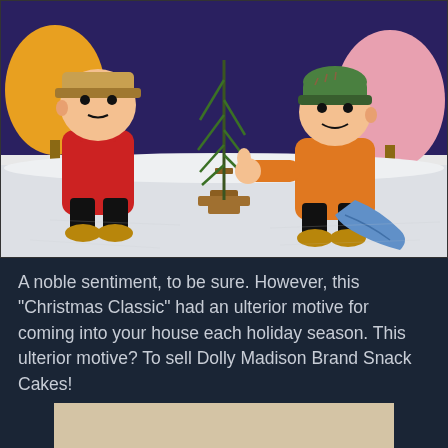[Figure (illustration): Scene from A Charlie Brown Christmas animated special showing Charlie Brown in a red coat and brown hat standing next to a small scraggly Christmas tree, and Linus in an orange coat and green hat gesturing with one hand, holding his blue blanket. Snowy winter background with colorful trees.]
A noble sentiment, to be sure. However, this "Christmas Classic" had an ulterior motive for coming into your house each holiday season. This ulterior motive? To sell Dolly Madison Brand Snack Cakes!
[Figure (photo): Partial view of a photo at the bottom of the page, showing what appears to be a light-colored interior scene.]